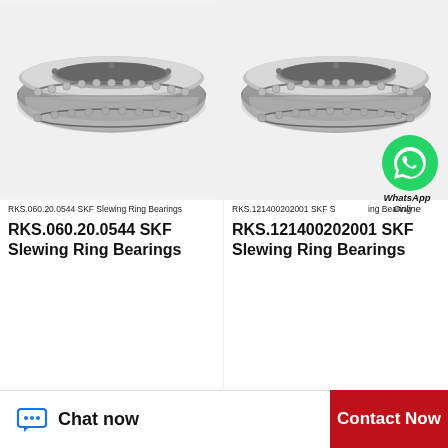[Figure (photo): RKS.060.20.0544 SKF Slewing Ring Bearing - top view showing circular bearing ring]
RKS.060.20.0544 SKF Slewing Ring Bearings
RKS.060.20.0544 SKF Slewing Ring Bearings
[Figure (photo): RKS.121400202001 SKF Slewing Ring Bearing - top view showing circular bearing ring with WhatsApp Online overlay]
RKS.121400202001 SKF Slewing Ring Bearings
RKS.121400202001 SKF Slewing Ring Bearings
[Figure (photo): SKF Slewing Ring Bearing - partial side view (bottom row left)]
[Figure (photo): SKF Slewing Ring Bearing - partial side view (bottom row right)]
Chat now
Contact Now